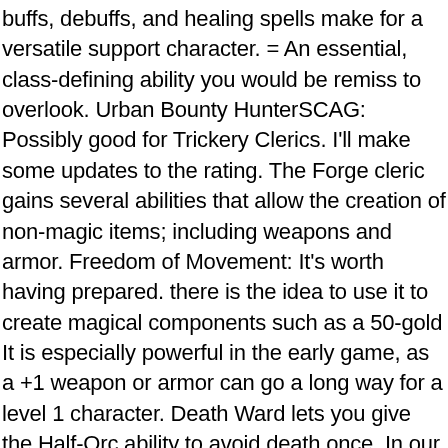buffs, debuffs, and healing spells make for a versatile support character. = An essential, class-defining ability you would be remiss to overlook. Urban Bounty HunterSCAG: Possibly good for Trickery Clerics. I'll make some updates to the rating. The Forge cleric gains several abilities that allow the creation of non-magic items; including weapons and armor. Freedom of Movement: It's worth having prepared. there is the idea to use it to create magical components such as a 50-gold It is especially powerful in the early game, as a +1 weapon or armor can go a long way for a level 1 character. Death Ward lets you give the Half-Orc ability to avoid death once. In our Cleric 5E guide, we take a look at the full list of gods in the Forgotten Realms and provide suggestions for every domain. The ultimate devotee of a god, the cleric is called to do more than lead temple service. Create Undead: A potent summoning spell for the aspiring Necromancer. In words, you have the power to buff a suit of armor or a weapon and bestow it upon a faithful. As that will tide...